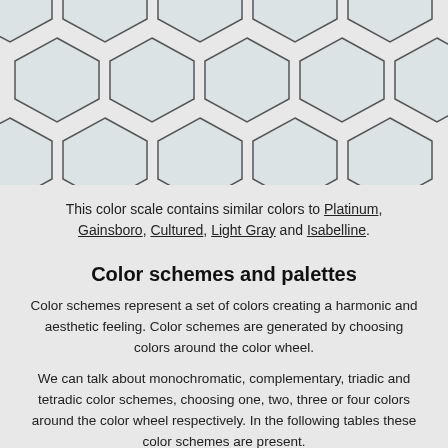[Figure (illustration): A grid of hexagonal shapes arranged in two rows, light gray/white fill with dark gray outlines, partially cut off at top and sides, on a light gray background.]
This color scale contains similar colors to Platinum, Gainsboro, Cultured, Light Gray and Isabelline.
Color schemes and palettes
Color schemes represent a set of colors creating a harmonic and aesthetic feeling. Color schemes are generated by choosing colors around the color wheel.
We can talk about monochromatic, complementary, triadic and tetradic color schemes, choosing one, two, three or four colors around the color wheel respectively. In the following tables these color schemes are present.
Monochromatic